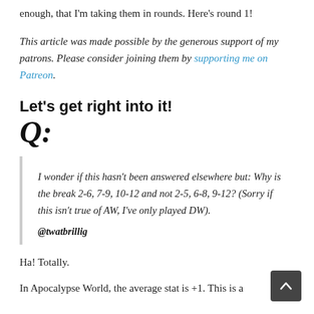enough, that I'm taking them in rounds. Here's round 1!
This article was made possible by the generous support of my patrons. Please consider joining them by supporting me on Patreon.
Let's get right into it!
Q:
I wonder if this hasn't been answered elsewhere but: Why is the break 2-6, 7-9, 10-12 and not 2-5, 6-8, 9-12? (Sorry if this isn't true of AW, I've only played DW).
@twatbrillig
Ha! Totally.
In Apocalypse World, the average stat is +1. This is a